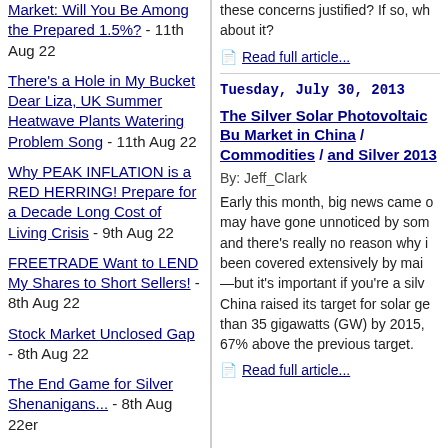Market: Will You Be Among the Prepared 1.5%? - 11th Aug 22
There's a Hole in My Bucket Dear Liza, UK Summer Heatwave Plants Watering Problem Song - 11th Aug 22
Why PEAK INFLATION is a RED HERRING! Prepare for a Decade Long Cost of Living Crisis - 9th Aug 22
FREETRADE Want to LEND My Shares to Short Sellers! - 8th Aug 22
Stock Market Unclosed Gap - 8th Aug 22
The End Game for Silver Shenanigans... - 8th Aug 22er
WARNING Corsair MP600 NVME2 M2 SSD Are Prone to Failure Can Prevent Systems From Booting - 8th Aug 22
Elliott Waves: Your "Rhyme & Reason" to Mainstream Stock Market
these concerns justified? If so, wh about it?
Read full article...
Tuesday, July 30, 2013
The Silver Solar Photovoltaic Bu Market in China / Commodities / and Silver 2013
By: Jeff_Clark
Early this month, big news came o may have gone unnoticed by som and there's really no reason why i been covered extensively by mai —but it's important if you're a silv China raised its target for solar ge than 35 gigawatts (GW) by 2015, 67% above the previous target.
Read full article...